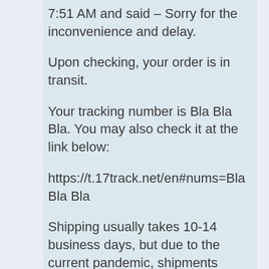7:51 AM and said – Sorry for the inconvenience and delay.
Upon checking, your order is in transit.
Your tracking number is Bla Bla Bla. You may also check it at the link below:
https://t.17track.net/en#nums=Bla Bla Bla
Shipping usually takes 10-14 business days, but due to the current pandemic, shipments have been delayed.
Please don't hesitate to contact us with any questions and concerns.